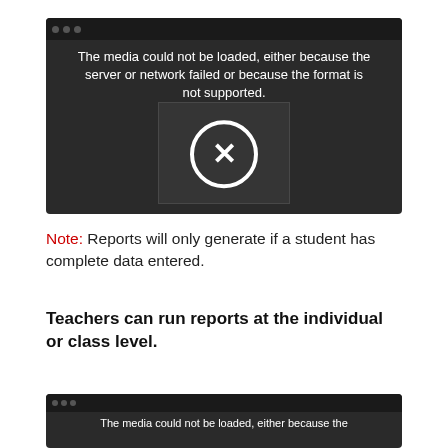[Figure (screenshot): Video player showing error message: 'The media could not be loaded, either because the server or network failed or because the format is not supported.' with an X circle icon overlay and a blurred screenshot of a web application in the background.]
Note: Reports will only generate if a student has complete data entered.
Teachers can run reports at the individual or class level.
[Figure (screenshot): Second video player showing error message: 'The media could not be loaded, either because the']